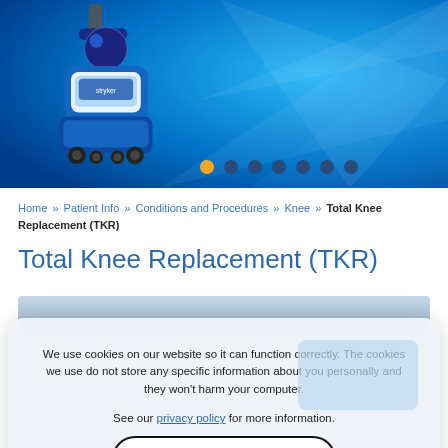[Figure (photo): Blue gradient hero banner with a white and blue robotic surgical/medical device (Stryker-like robot) on the left, with carousel navigation dots below]
Home » Patient Info » Conditions and Procedures » Knee » Total Knee Replacement (TKR)
Total Knee Replacement (TKR)
[Figure (photo): Partial view of a medical/patient photo under cookie consent dialog]
We use cookies on our website so it can function correctly. The cookies we use do not store any specific information about you personally and they won't harm your computer.

See our privacy policy for more information.

Accept